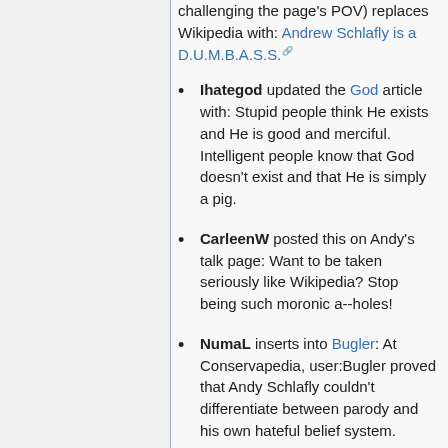challenging the page's POV) replaces Wikipedia with: Andrew Schlafly is a D.U.M.B.A.S.S.
Ihategod updated the God article with: Stupid people think He exists and He is good and merciful. Intelligent people know that God doesn't exist and that He is simply a pig.
CarleenW posted this on Andy's talk page: Want to be taken seriously like Wikipedia? Stop being such moronic a--holes!
NumaL inserts into Bugler: At Conservapedia, user:Bugler proved that Andy Schlafly couldn't differentiate between parody and his own hateful belief system.
Theyseemetrollin gave a wonderful alternate meaning to Raid, the bug spray: It is also when this